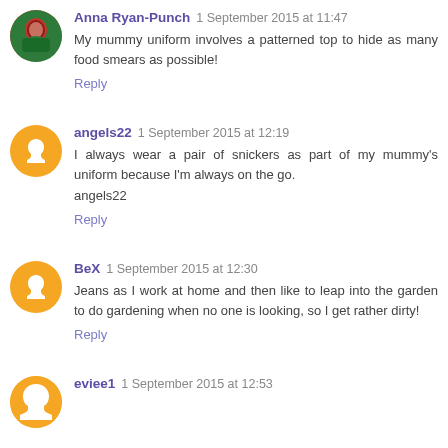Anna Ryan-Punch 1 September 2015 at 11:47
My mummy uniform involves a patterned top to hide as many food smears as possible!
Reply
angels22 1 September 2015 at 12:19
I always wear a pair of snickers as part of my mummy's uniform because I'm always on the go.
angels22
Reply
BeX 1 September 2015 at 12:30
Jeans as I work at home and then like to leap into the garden to do gardening when no one is looking, so I get rather dirty!
Reply
eviee1 1 September 2015 at 12:53